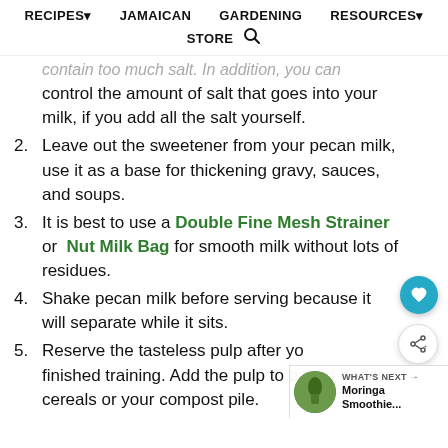RECIPES▾   JAMAICAN   GARDENING   RESOURCES▾   STORE 🔍
contain too much salt. In addition, you can control the amount of salt that goes into your milk, if you add all the salt yourself.
2. Leave out the sweetener from your pecan milk, use it as a base for thickening gravy, sauces, and soups.
3. It is best to use a Double Fine Mesh Strainer or Nut Milk Bag for smooth milk without lots of residues.
4. Shake pecan milk before serving because it will separate while it sits.
5. Reserve the tasteless pulp after you finished training. Add the pulp to baked goods, cereals or your compost pile.
[Figure (other): Moringa Smoothie thumbnail image with WHAT'S NEXT label]